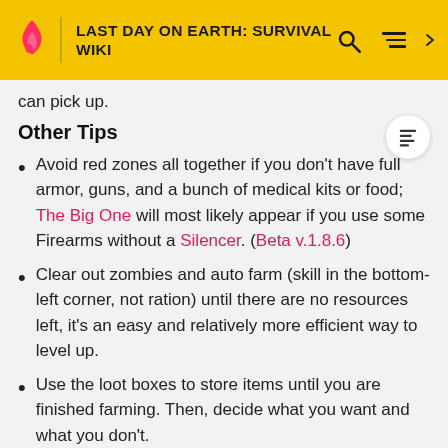LAST DAY ON EARTH: SURVIVAL WIKI
can pick up.
Other Tips
Avoid red zones all together if you don't have full armor, guns, and a bunch of medical kits or food; The Big One will most likely appear if you use some Firearms without a Silencer. (Beta v.1.8.6)
Clear out zombies and auto farm (skill in the bottom-left corner, not ration) until there are no resources left, it's an easy and relatively more efficient way to level up.
Use the loot boxes to store items until you are finished farming. Then, decide what you want and what you don't.
When auto farming, make sure you have enough...